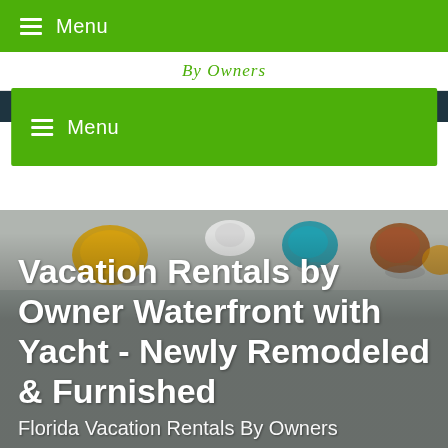Menu
By Owners
Menu
[Figure (photo): Aerial beach photo with colorful beach bags and items on sand, viewed from above with a grey sandy background]
Vacation Rentals by Owner Waterfront with Yacht - Newly Remodeled & Furnished
Florida Vacation Rentals By Owners